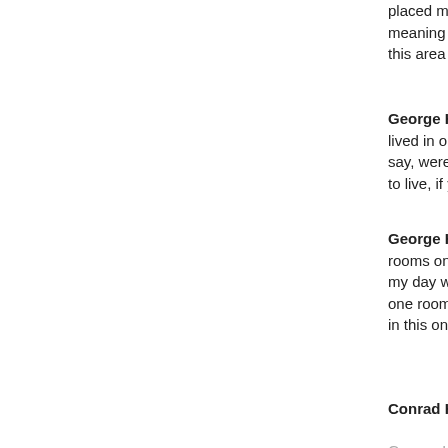placed many hundreds of families…meaning camp ten ten. Was…this area where we installed…
George Hornung [00:09:39] lived in or how many people…say, were they barracks as w…to live, if you will, or?
George Hornung [00:10:06] rooms on both sides of the c…my day with my mom and m…one room. This was our kitc…in this one tiny little room. So
Conrad Hornung [00:10:38]
George Hornung [00:10:38]
George Hornung [00:10:40] Yes, So that means y…four to the time you were 12.
George Hornung [00:10:57]
Conrad Hornung [00:10:57] 1940.
George Hornung [00:11:02]
Conrad Hornung [00:11:0…]
We use cookies to help provide and enhance our service and tailor content. By closing this message, you agree to the use of cookies.
Close